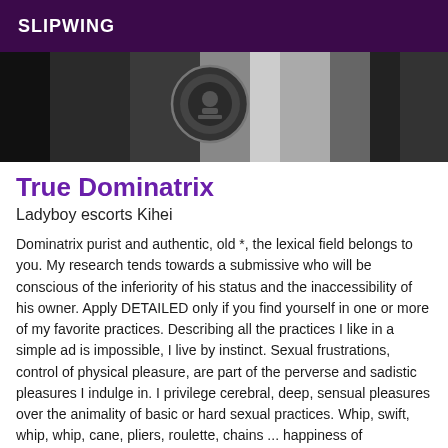SLIPWING
[Figure (photo): Black and white photo showing a person with an emblem/badge, high contrast monochrome image]
True Dominatrix
Ladyboy escorts Kihei
Dominatrix purist and authentic, old *, the lexical field belongs to you. My research tends towards a submissive who will be conscious of the inferiority of his status and the inaccessibility of his owner. Apply DETAILED only if you find yourself in one or more of my favorite practices. Describing all the practices I like in a simple ad is impossible, I live by instinct. Sexual frustrations, control of physical pleasure, are part of the perverse and sadistic pleasures I indulge in. I privilege cerebral, deep, sensual pleasures over the animality of basic or hard sexual practices. Whip, swift, whip, whip, cane, pliers, roulette, chains ... happiness of masochists Soft or Hard. The transition is not always lib...